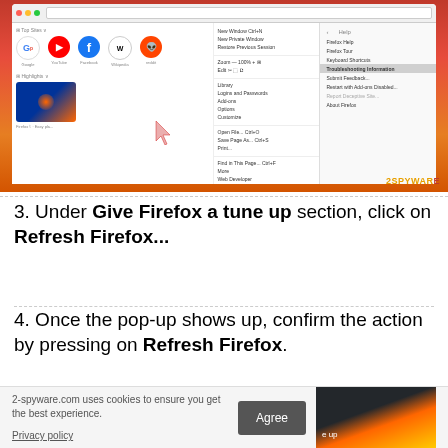[Figure (screenshot): Firefox browser screenshot showing the Help menu open with 'Troubleshooting Information' highlighted, and a cursor arrow pointing to it. The 2SPYWARE watermark is visible at the bottom right.]
3. Under Give Firefox a tune up section, click on Refresh Firefox...
4. Once the pop-up shows up, confirm the action by pressing on Refresh Firefox.
2-spyware.com uses cookies to ensure you get the best experience.
Privacy policy
Agree